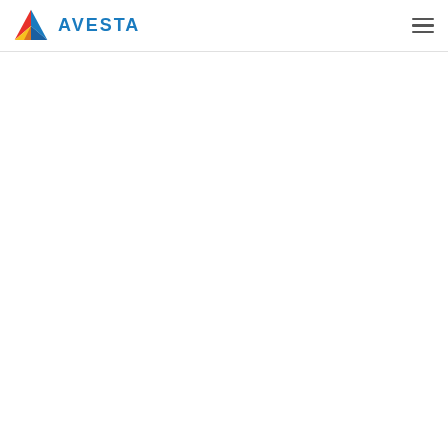AVESTA logo with navigation hamburger menu